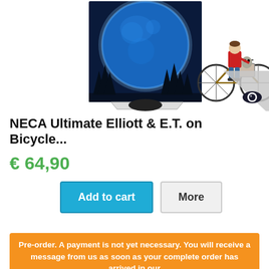[Figure (photo): Product photo of NECA Ultimate Elliott & E.T. on Bicycle figure set, showing a diorama with a large blue moon backdrop and figures of Elliott riding a bicycle with E.T. in the front basket, wearing a red hoodie.]
NECA Ultimate Elliott & E.T. on Bicycle...
€ 64,90
Add to cart
More
Pre-order. A payment is not yet necessary. You will receive a message from us as soon as your complete order has arrived in our shop.